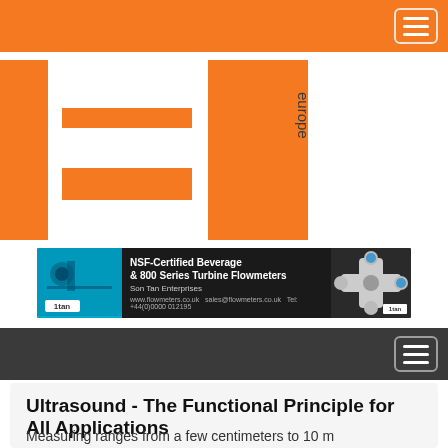IEN Europe
[Figure (logo): IEN Europe logo — large orange block letters IEN with 'europe' in dark grey running vertically]
[Figure (other): Advertisement banner: 1tan NSF-Certified Beverage & 800 Series Turbine Flowmeters, Son Tan Enterprises]
Ultrasound - The Functional Principle for All Applications
Measuring ranges from a few centimeters to 10 m